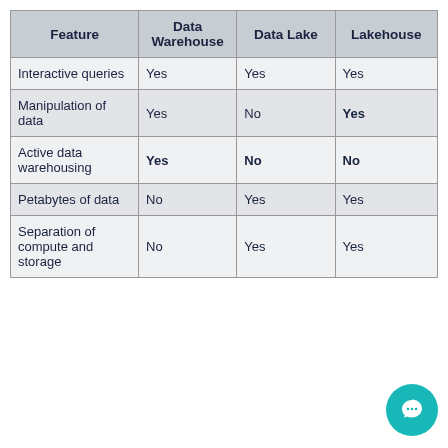| Feature | Data Warehouse | Data Lake | Lakehouse |
| --- | --- | --- | --- |
| Interactive queries | Yes | Yes | Yes |
| Manipulation of data | Yes | No | Yes |
| Active data warehousing | Yes | No | No |
| Petabytes of data | No | Yes | Yes |
| Separation of compute and storage | No | Yes | Yes |